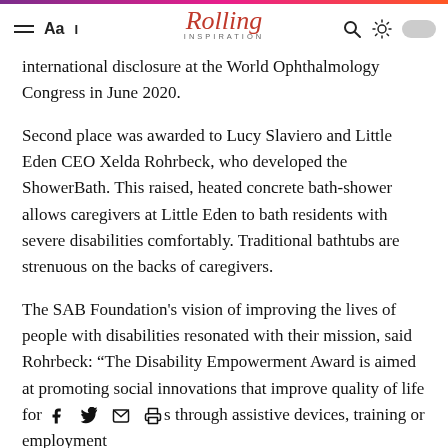Rolling Inspiration
international disclosure at the World Ophthalmology Congress in June 2020.
Second place was awarded to Lucy Slaviero and Little Eden CEO Xelda Rohrbeck, who developed the ShowerBath. This raised, heated concrete bath-shower allows caregivers at Little Eden to bath residents with severe disabilities comfortably. Traditional bathtubs are strenuous on the backs of caregivers.
The SAB Foundation's vision of improving the lives of people with disabilities resonated with their mission, said Rohrbeck: “The Disability Empowerment Award is aimed at promoting social innovations that improve quality of life for [social icons] s through assistive devices, training or employment